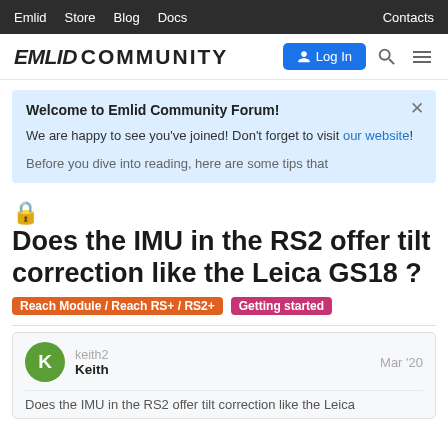Emlid  Store  Blog  Docs  Contacts
[Figure (logo): Emlid Community logo with Log In button, search and menu icons]
Welcome to Emlid Community Forum! We are happy to see you've joined! Don't forget to visit our website! Before you dive into reading, here are some tips that
Does the IMU in the RS2 offer tilt correction like the Leica GS18 ?
Reach Module / Reach RS+ / RS2+   Getting started
keith2  Keith  Mar '20
Does the IMU in the RS2 offer tilt correction like the Leica